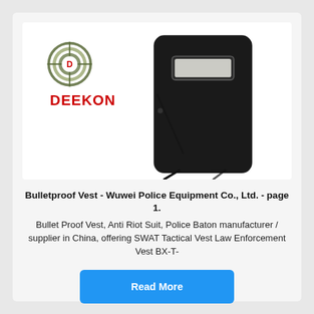[Figure (photo): Product photo of a black bulletproof/riot shield standing upright, with DEEKON logo (circular target logo with D and red DEEKON text) in the upper left of the image. The shield has a rectangular viewport window near the top and a stand/handle.]
Bulletproof Vest - Wuwei Police Equipment Co., Ltd. - page 1.
Bullet Proof Vest, Anti Riot Suit, Police Baton manufacturer / supplier in China, offering SWAT Tactical Vest Law Enforcement Vest BX-T-
Read More